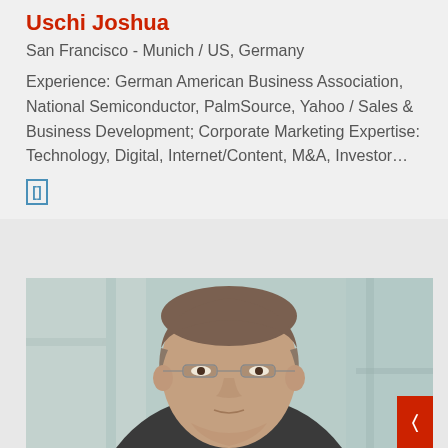Uschi Joshua
San Francisco - Munich / US, Germany
Experience: German American Business Association, National Semiconductor, PalmSource, Yahoo / Sales & Business Development; Corporate Marketing Expertise: Technology, Digital, Internet/Content, M&A, Investor…
[Figure (other): LinkedIn icon button (bracket/square icon in blue outline)]
[Figure (photo): Professional headshot of a middle-aged man with short grey-brown hair, glasses, wearing a dark suit, photographed against a blurred glass building background]